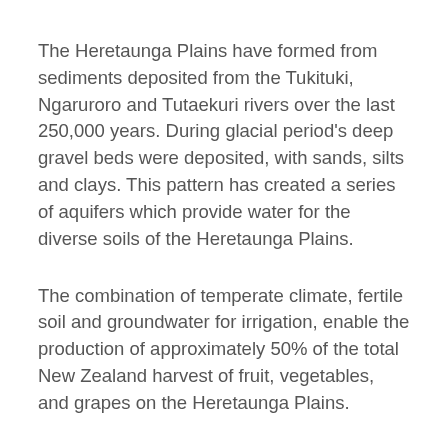The Heretaunga Plains have formed from sediments deposited from the Tukituki, Ngaruroro and Tutaekuri rivers over the last 250,000 years. During glacial period's deep gravel beds were deposited, with sands, silts and clays. This pattern has created a series of aquifers which provide water for the diverse soils of the Heretaunga Plains.
The combination of temperate climate, fertile soil and groundwater for irrigation, enable the production of approximately 50% of the total New Zealand harvest of fruit, vegetables, and grapes on the Heretaunga Plains.
Maori and latterly European settlers have been drawn to Heretaunga for the gifts that nature provides – perfect weather (Hau/Air).